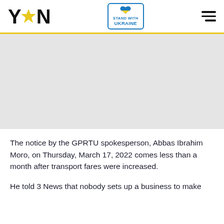YEN — Stand with Ukraine
[Figure (photo): Gray placeholder image area for an article image]
The notice by the GPRTU spokesperson, Abbas Ibrahim Moro, on Thursday, March 17, 2022 comes less than a month after transport fares were increased.
He told 3 News that nobody sets up a business to make